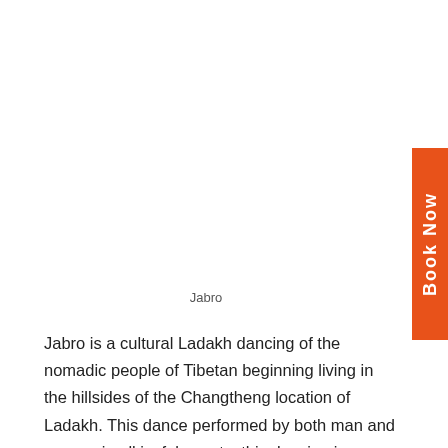[Figure (other): Vertical orange 'Book Now' tab on the right side of the page]
Jabro
Jabro is a cultural Ladakh dancing of the nomadic people of Tibetan beginning living in the hillsides of the Changtheng location of Ladakh. This dance performed by both man and women in all joyful events, this dancing is an essential part of the Losar events, which is the Tibetan New Year Event.